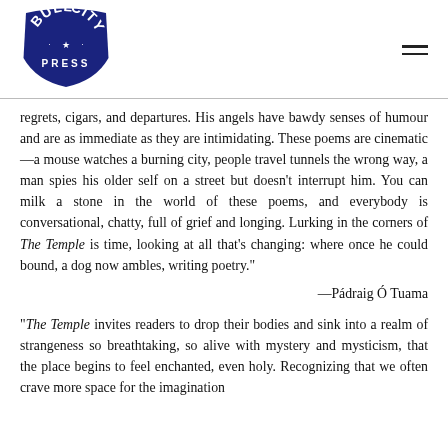[Figure (logo): Bull City Press logo — shield shape with dark navy background, white text reading BULL CITY with a star, and PRESS below in spaced caps]
regrets, cigars, and departures. His angels have bawdy senses of humour and are as immediate as they are intimidating. These poems are cinematic—a mouse watches a burning city, people travel tunnels the wrong way, a man spies his older self on a street but doesn't interrupt him. You can milk a stone in the world of these poems, and everybody is conversational, chatty, full of grief and longing. Lurking in the corners of The Temple is time, looking at all that's changing: where once he could bound, a dog now ambles, writing poetry."
—Pádraig Ó Tuama
"The Temple invites readers to drop their bodies and sink into a realm of strangeness so breathtaking, so alive with mystery and mysticism, that the place begins to feel enchanted, even holy. Recognizing that we often crave more space for the imagination